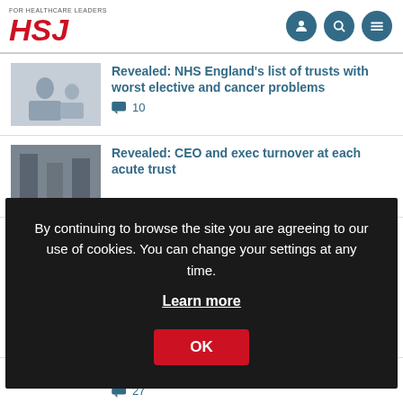HSJ — For Healthcare Leaders
Revealed: NHS England's list of trusts with worst elective and cancer problems
💬 10
Revealed: CEO and exec turnover at each acute trust
By continuing to browse the site you are agreeing to our use of cookies. You can change your settings at any time. Learn more OK
[partially visible] chiefs over ambulance delays
💬 27